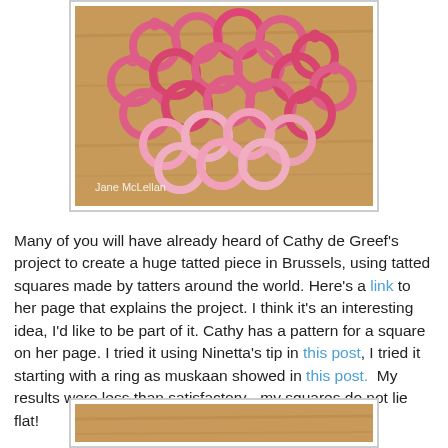[Figure (photo): Pink tatted lace squares arranged in a pile on a wooden surface, with photographer credit 'Jane McLellan' in white text at the bottom left.]
Many of you will have already heard of Cathy de Greef's project to create a huge tatted piece in Brussels, using tatted squares made by tatters around the world. Here's a link to her page that explains the project. I think it's an interesting idea, I'd like to be part of it. Cathy has a pattern for a square on her page. I tried it using Ninetta's tip in this post, I tried it starting with a ring as muskaan showed in this post.  My results were less than satisfactory - my squares do not lie flat!
[Figure (photo): Partial view of a tatted square on a wooden surface.]